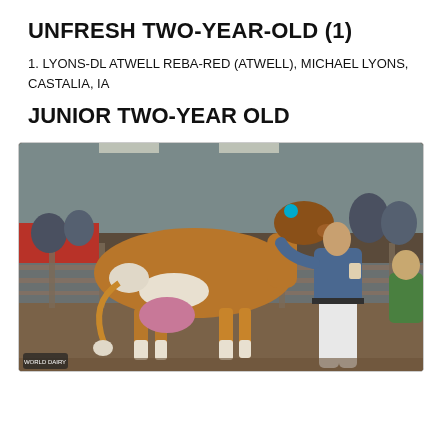UNFRESH TWO-YEAR-OLD (1)
1. LYONS-DL ATWELL REBA-RED (ATWELL), MICHAEL LYONS, CASTALIA, IA
JUNIOR TWO-YEAR OLD
[Figure (photo): A brown and white dairy cow being shown in an indoor arena by a handler wearing white pants and a denim jacket. The cow's udder is visible. Background shows arena fencing, red wall, and spectators.]